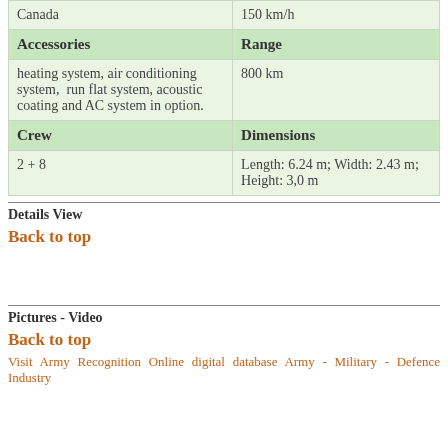| Accessories | Range | Crew | Dimensions |
| --- | --- | --- | --- |
| Canada | 150 km/h |
| heating system, air conditioning system,  run flat system, acoustic coating and AC system in option. | 800 km |
| Crew | Dimensions |
| 2 + 8 | Length: 6.24 m; Width: 2.43 m; Height: 3,0 m |
Details View
Back to top
Pictures - Video
Back to top
Visit Army Recognition Online digital database Army - Military - Defence Industry